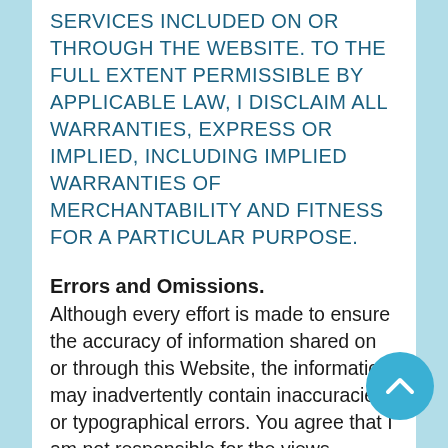SERVICES INCLUDED ON OR THROUGH THE WEBSITE. TO THE FULL EXTENT PERMISSIBLE BY APPLICABLE LAW, I DISCLAIM ALL WARRANTIES, EXPRESS OR IMPLIED, INCLUDING IMPLIED WARRANTIES OF MERCHANTABILITY AND FITNESS FOR A PARTICULAR PURPOSE.
Errors and Omissions.
Although every effort is made to ensure the accuracy of information shared on or through this Website, the information may inadvertently contain inaccuracies or typographical errors. You agree that I am not responsible for the views, opinions, or accuracy of facts